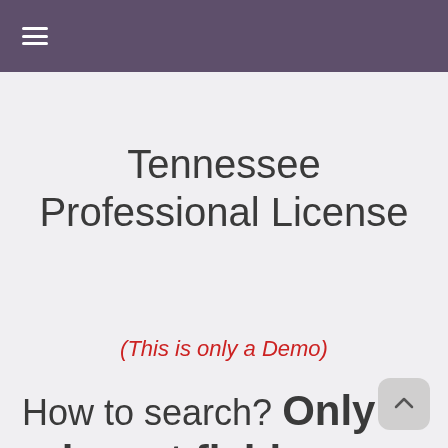≡
Tennessee Professional License
(This is only a Demo)
How to search? Only relevant fields are